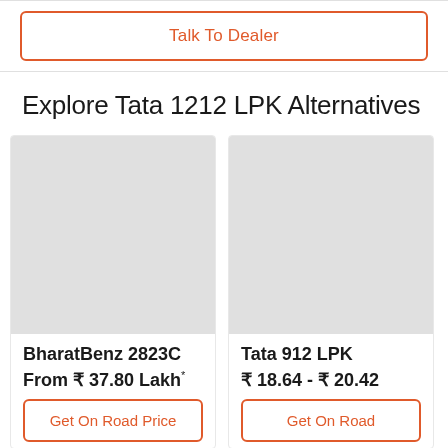Talk To Dealer
Explore Tata 1212 LPK Alternatives
[Figure (photo): Placeholder image for BharatBenz 2823C vehicle]
BharatBenz 2823C
From ₹ 37.80 Lakh*
Get On Road Price
[Figure (photo): Placeholder image for Tata 912 LPK vehicle]
Tata 912 LPK
₹ 18.64 - ₹ 20.42
Get On Road